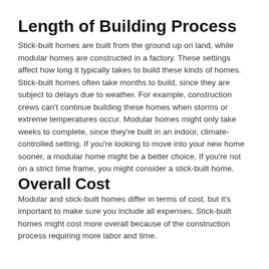Length of Building Process
Stick-built homes are built from the ground up on land, while modular homes are constructed in a factory. These settings affect how long it typically takes to build these kinds of homes. Stick-built homes often take months to build, since they are subject to delays due to weather. For example, construction crews can't continue building these homes when storms or extreme temperatures occur. Modular homes might only take weeks to complete, since they're built in an indoor, climate-controlled setting. If you're looking to move into your new home sooner, a modular home might be a better choice. If you're not on a strict time frame, you might consider a stick-built home.
Overall Cost
Modular and stick-built homes differ in terms of cost, but it's important to make sure you include all expenses. Stick-built homes might cost more overall because of the construction process requiring more labor and time.